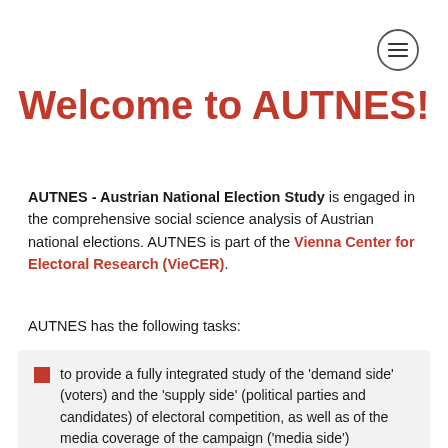[Figure (other): Hamburger menu icon — three horizontal lines inside a circle, top-right corner]
Welcome to AUTNES!
AUTNES - Austrian National Election Study is engaged in the comprehensive social science analysis of Austrian national elections. AUTNES is part of the Vienna Center for Electoral Research (VieCER).
AUTNES has the following tasks:
to provide a fully integrated study of the 'demand side' (voters) and the 'supply side' (political parties and candidates) of electoral competition, as well as of the media coverage of the campaign ('media side')
to make contributions to a better understanding of...